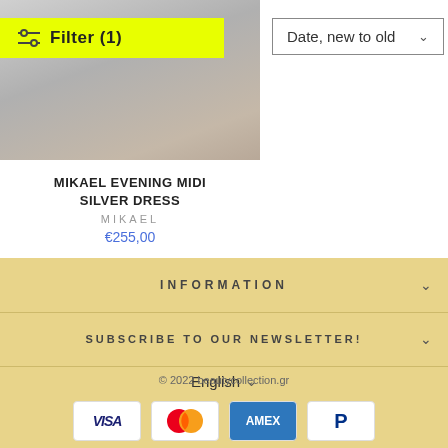[Figure (photo): Product photo of silver evening midi dress, partially visible at top]
Filter (1)
Date, new to old
MIKAEL EVENING MIDI SILVER DRESS
MIKAEL
€255,00
INFORMATION
SUBSCRIBE TO OUR NEWSLETTER!
English
[Figure (logo): Payment method logos: VISA, Mastercard, AMEX, PayPal]
© 2022 beautycollection.gr